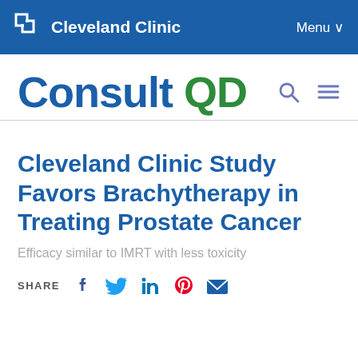Cleveland Clinic | Menu
Consult QD
Cleveland Clinic Study Favors Brachytherapy in Treating Prostate Cancer
Efficacy similar to IMRT with less toxicity
SHARE